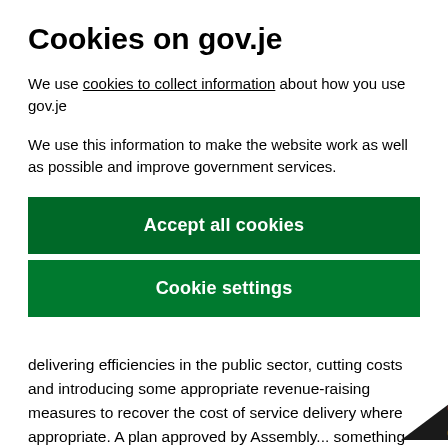Cookies on gov.je
We use cookies to collect information about how you use gov.je
We use this information to make the website work as well as possible and improve government services.
Accept all cookies
Cookie settings
delivering efficiencies in the public sector, cutting costs and introducing some appropriate revenue-raising measures to recover the cost of service delivery where appropriate. A plan approved by Assembly... something that all members can